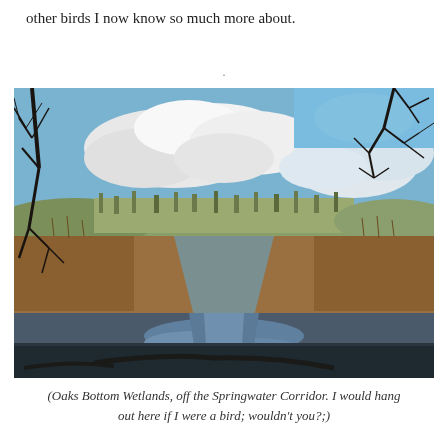other birds I now know so much more about.
[Figure (photo): A wetland landscape at Oaks Bottom Wetlands off the Springwater Corridor. A narrow channel of water reflects a blue sky with large white clouds. Bare winter trees frame the left and upper right of the image. Brown marsh grasses and reeds line the water's edges, with a tree-covered hillside visible in the background.]
(Oaks Bottom Wetlands, off the Springwater Corridor. I would hang out here if I were a bird; wouldn't you?;)